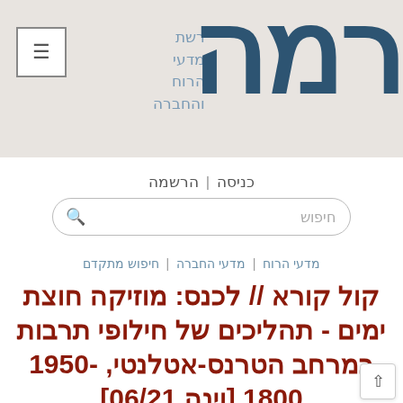רמה | רשת מדעי הרוח והחברה
כניסה | הרשמה
חיפוש
מדעי הרוח | מדעי החברה | חיפוש מתקדם
קול קורא // לכנס: מוזיקה חוצת ימים - תהליכים של חילופי תרבות במרחב הטרנס-אטלנטי, -1950 1800 [וינה 06/21]